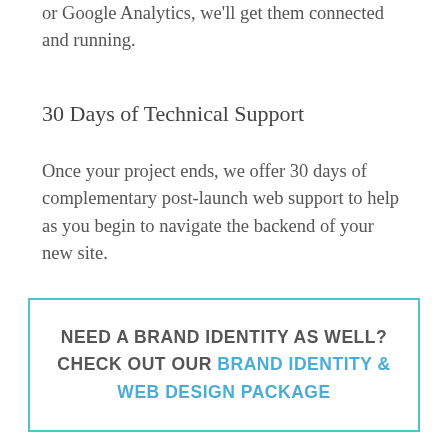or Google Analytics, we'll get them connected and running.
30 Days of Technical Support
Once your project ends, we offer 30 days of complementary post-launch web support to help as you begin to navigate the backend of your new site.
NEED A BRAND IDENTITY AS WELL? CHECK OUT OUR BRAND IDENTITY & WEB DESIGN PACKAGE